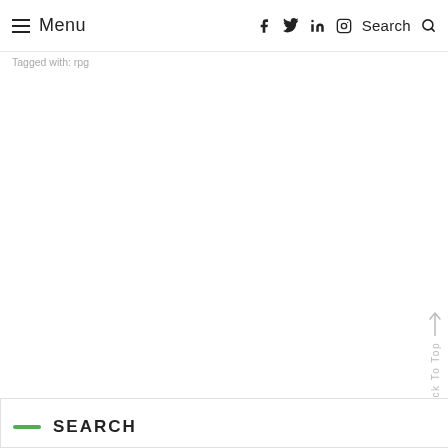Menu  f  Twitter  Pinterest  Instagram  Search
Tagged with: [tag]
Back To Top
SEARCH